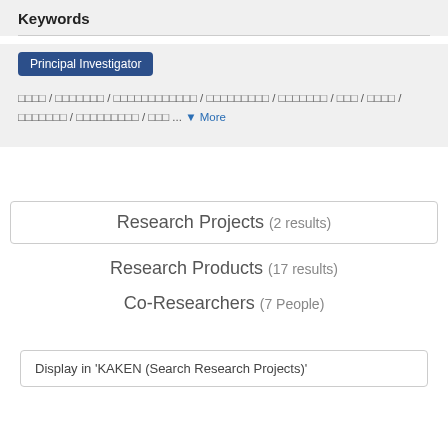Keywords
Principal Investigator
□□□□ / □□□□□□□ / □□□□□□□□□□□□ / □□□□□□□□□ / □□□□□□□ / □□□ / □□□□ / □□□□□□□ / □□□□□□□□□ / □□□ ... ▼ More
Research Projects (2 results)
Research Products (17 results)
Co-Researchers (7 People)
Display in 'KAKEN (Search Research Projects)'